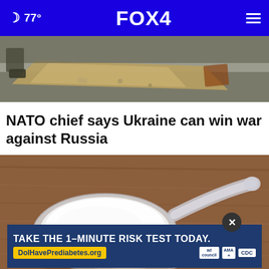🌙 77° FOX 4
[Figure (photo): War-related photograph showing debris and military boots on a concrete surface]
NATO chief says Ukraine can win war against Russia
[Figure (photo): Close-up photograph of a white plastic measuring scoop filled with white powder on a wooden surface]
[Figure (other): Advertisement overlay: TAKE THE 1-MINUTE RISK TEST TODAY. DolHavePrediabetes.org with ad council, AMA, and CDC logos]